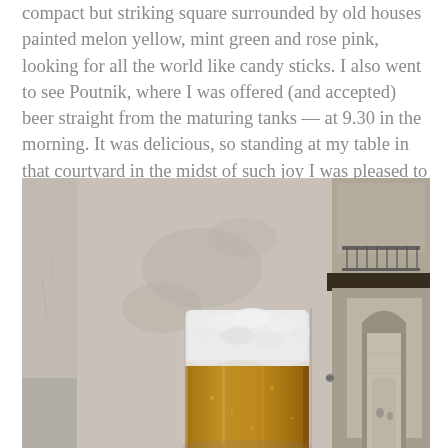compact but striking square surrounded by old houses painted melon yellow, mint green and rose pink, looking for all the world like candy sticks. I also went to see Poutnik, where I was offered (and accepted) beer straight from the maturing tanks — at 9.30 in the morning. It was delicious, so standing at my table in that courtyard in the midst of such joy I was pleased to find that the beer still thrilled and drilled a shiver of pleasure onto the palate.
[Figure (photo): A close-up photograph of a glass of beer with a thick white foamy head, golden amber beer visible below, set in an outdoor courtyard with a whitewashed wall behind it and an arched passageway visible in the background on the right.]